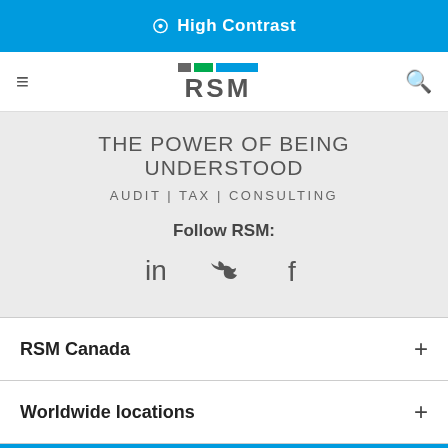High Contrast
[Figure (logo): RSM logo with colored squares and RSM text]
THE POWER OF BEING UNDERSTOOD
AUDIT | TAX | CONSULTING
Follow RSM:
[Figure (illustration): Social media icons: LinkedIn, Twitter, Facebook]
RSM Canada
Worldwide locations
This website uses cookies. By continuing to use this site, you are giving consent to cookies being used. For more information on cookies and how we use them, click here